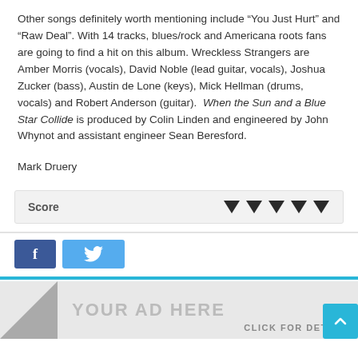Other songs definitely worth mentioning include “You Just Hurt” and “Raw Deal”. With 14 tracks, blues/rock and Americana roots fans are going to find a hit on this album. Wreckless Strangers are Amber Morris (vocals), David Noble (lead guitar, vocals), Joshua Zucker (bass), Austin de Lone (keys), Mick Hellman (drums, vocals) and Robert Anderson (guitar). When the Sun and a Blue Star Collide is produced by Colin Linden and engineered by John Whynot and assistant engineer Sean Beresford.
Mark Druery
| Score |  |
| --- | --- |
| Score | ▾ ▾ ▾ ▾ ▾ |
[Figure (other): Facebook and Twitter social share buttons]
[Figure (other): Advertisement banner with YOUR AD HERE text and CLICK FOR DETAILS link]